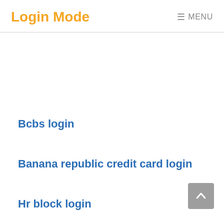Login Mode  ☰ MENU
Bcbs login
Banana republic credit card login
Hr block login